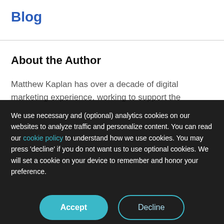Blog
About the Author
Matthew Kaplan has over a decade of digital marketing experience, working to support the
We use necessary and (optional) analytics cookies on our websites to analyze traffic and personalize content. You can read our cookie policy to understand how we use cookies. You may press 'decline' if you do not want us to use optional cookies. We will set a cookie on your device to remember and honor your preference.
Accept
Decline